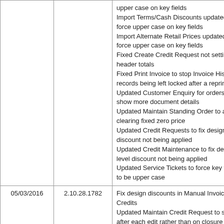| Date | Version | Description |
| --- | --- | --- |
|  |  | upper case on key fields
Import Terms/Cash Discounts updated to force upper case on key fields
Import Alternate Retail Prices updated to force upper case on key fields
Fixed Create Credit Request not setting the header totals
Fixed Print Invoice to stop Invoice History records being left locked after a reprint
Updated Customer Enquiry for orders to show more document details
Updated Maintain Standing Order to allow clearing fixed zero price
Updated Credit Requests to fix design level discount not being applied
Updated Credit Maintenance to fix design level discount not being applied
Updated Service Tickets to force key fields to be upper case |
| 05/03/2016 | 2.10.28.1782 | Fix design discounts in Manual Invoice and Credits
Updated Maintain Credit Request to save after each edit rather than on closure of the screen< br /> Updated Maintain Standing order to allow fixed values to be clear |
| 05/03/2016 | 2.10.27.1781 | Update Global Change Preferred design adding audit report and extra selection options
Fixed saving POS data in Rack Designer
Fixed overflow error when disabling racks
Manual Credits updated to allow stock |